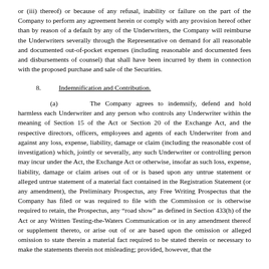or (iii) thereof) or because of any refusal, inability or failure on the part of the Company to perform any agreement herein or comply with any provision hereof other than by reason of a default by any of the Underwriters, the Company will reimburse the Underwriters severally through the Representative on demand for all reasonable and documented out-of-pocket expenses (including reasonable and documented fees and disbursements of counsel) that shall have been incurred by them in connection with the proposed purchase and sale of the Securities.
8. Indemnification and Contribution.
(a) The Company agrees to indemnify, defend and hold harmless each Underwriter and any person who controls any Underwriter within the meaning of Section 15 of the Act or Section 20 of the Exchange Act, and the respective directors, officers, employees and agents of each Underwriter from and against any loss, expense, liability, damage or claim (including the reasonable cost of investigation) which, jointly or severally, any such Underwriter or controlling person may incur under the Act, the Exchange Act or otherwise, insofar as such loss, expense, liability, damage or claim arises out of or is based upon any untrue statement or alleged untrue statement of a material fact contained in the Registration Statement (or any amendment), the Preliminary Prospectus, any Free Writing Prospectus that the Company has filed or was required to file with the Commission or is otherwise required to retain, the Prospectus, any “road show” as defined in Section 433(h) of the Act or any Written Testing-the-Waters Communication or in any amendment thereof or supplement thereto, or arise out of or are based upon the omission or alleged omission to state therein a material fact required to be stated therein or necessary to make the statements therein not misleading; provided, however, that the